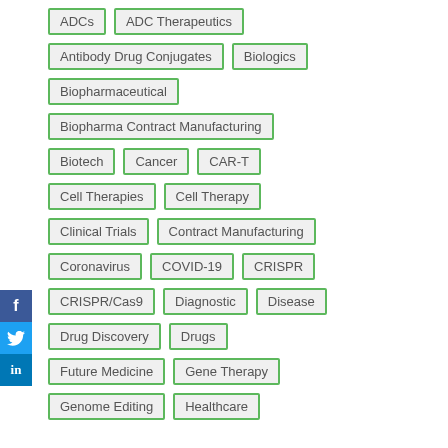ADCs
ADC Therapeutics
Antibody Drug Conjugates
Biologics
Biopharmaceutical
Biopharma Contract Manufacturing
Biotech
Cancer
CAR-T
Cell Therapies
Cell Therapy
Clinical Trials
Contract Manufacturing
Coronavirus
COVID-19
CRISPR
CRISPR/Cas9
Diagnostic
Disease
Drug Discovery
Drugs
Future Medicine
Gene Therapy
Genome Editing
Healthcare